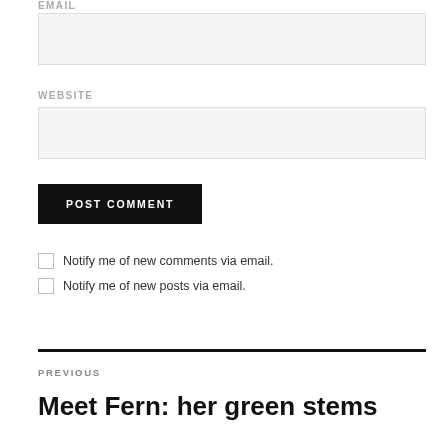EMAIL
(email input box)
WEBSITE
(website input box)
POST COMMENT
Notify me of new comments via email.
Notify me of new posts via email.
PREVIOUS
Meet Fern: her green stems